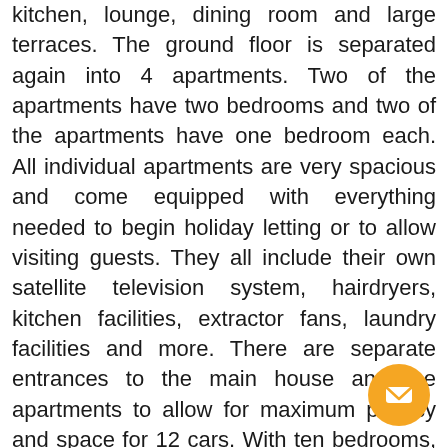kitchen, lounge, dining room and large terraces. The ground floor is separated again into 4 apartments. Two of the apartments have two bedrooms and two of the apartments have one bedroom each. All individual apartments are very spacious and come equipped with everything needed to begin holiday letting or to allow visiting guests. They all include their own satellite television system, hairdryers, kitchen facilities, extractor fans, laundry facilities and more. There are separate entrances to the main house and the apartments to allow for maximum privacy and space for 12 cars. With ten bedrooms, six bathrooms, eight reception rooms, five kitchens, an office, utility room, many terraces, vast mature gardens with fruit trees, a garage/workshop, BBQ area – the property offers everything someone would need to begin their own self-contained sanctuary or letting business. The location of the property means its very accessible and